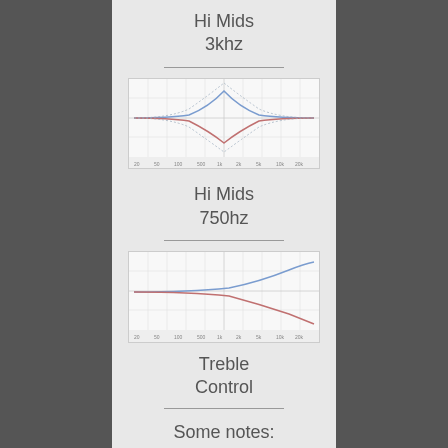Hi Mids
3khz
[Figure (continuous-plot): Frequency response curves for Hi Mids 3khz EQ band showing a band-pass/peak shape with blue upper curve peaking in the center and red lower curve dipping, converging at both ends.]
Hi Mids
750hz
[Figure (continuous-plot): Frequency response curves for Hi Mids 750hz EQ band showing two curves (blue and red) diverging toward the right side, one rising and one falling from a common starting point on the left.]
Treble
Control
Some notes: